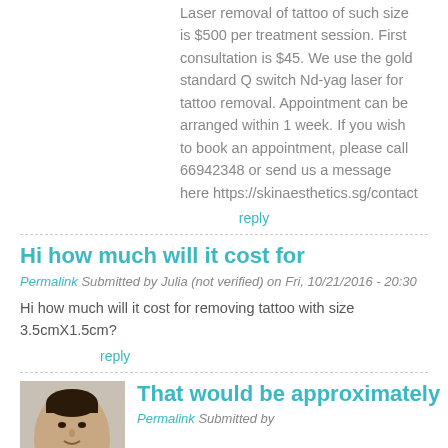Laser removal of tattoo of such size is $500 per treatment session. First consultation is $45. We use the gold standard Q switch Nd-yag laser for tattoo removal. Appointment can be arranged within 1 week. If you wish to book an appointment, please call 66942348 or send us a message here https://skinaesthetics.sg/contact
reply
Hi how much will it cost for
Permalink Submitted by Julia (not verified) on Fri, 10/21/2016 - 20:30
Hi how much will it cost for removing tattoo with size 3.5cmX1.5cm?
reply
[Figure (photo): Profile photo of a man, used as avatar for a comment reply]
That would be approximately
Permalink Submitted by